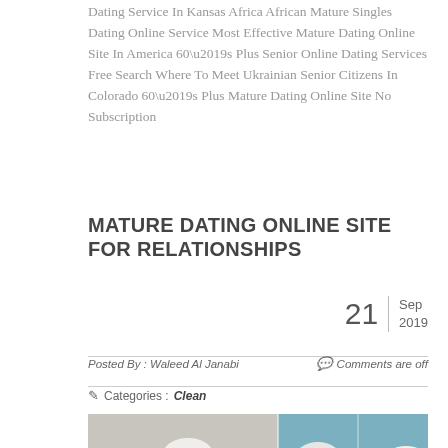Dating Service In Kansas Africa African Mature Singles Dating Online Service Most Effective Mature Dating Online Site In America 60’s Plus Senior Online Dating Services Free Search Where To Meet Ukrainian Senior Citizens In Colorado 60’s Plus Mature Dating Online Site No Subscription
MATURE DATING ONLINE SITE FOR RELATIONSHIPS
21  Sep 2019
Posted By : Waleed Al Janabi   Comments are off
Categories :Clean
[Figure (photo): Three elderly people smiling, two women and one man, appearing to be at a social gathering or event]